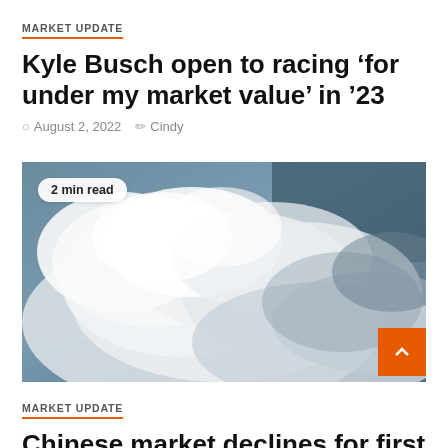MARKET UPDATE
Kyle Busch open to racing ‘for under my market value’ in ’23
○ August 2, 2022  ✎ Cindy
[Figure (photo): A sky photo showing dramatic white cumulus clouds against a dark grey-blue sky background.]
2 min read
MARKET UPDATE
Chinese market declines for first time in 14